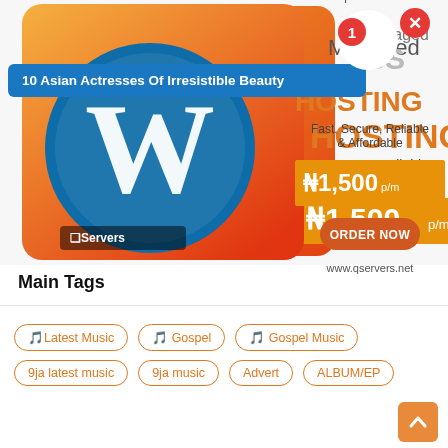[Figure (infographic): WordPress managed hosting advertisement for QServers. Shows WordPress logo (blue circle with W on orange/gradient background). Text: Managed WordPress Hosting, Fast, Secure, Reliable & Affordable, ₦1,500 p/m, ORDER NOW button, www.qservers.net. Notification bar overlay: '10 Asian Actresses Of Irresistible Beauty'. Red notification badge with '1'. Red close X button. White circle.]
Main Tags
🎵 Latest Music
🎵 Gospel
🎵 Gospel Music
9ja latest music
9ja music
Advert
ALBUM/EP